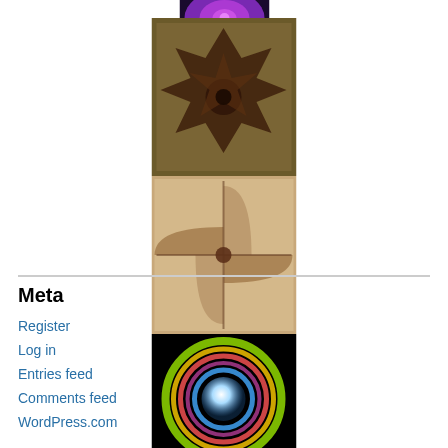[Figure (illustration): Stack of decorative images: purple circular pattern at top (partially cut off), brown/copper snowflake tile, beige/tan pinwheel tile, colorful circular orb on black background, blue 3D globe icon]
Meta
Register
Log in
Entries feed
Comments feed
WordPress.com